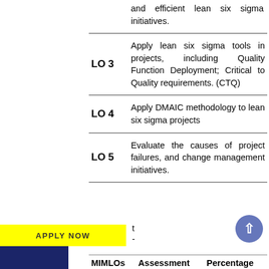| LO | Description |
| --- | --- |
|  | and efficient lean six sigma initiatives. |
| LO 3 | Apply lean six sigma tools in projects, including Quality Function Deployment; Critical to Quality requirements. (CTQ) |
| LO 4 | Apply DMAIC methodology to lean six sigma projects |
| LO 5 | Evaluate the causes of project failures, and change management initiatives. |
APPLY NOW
| MIMLOs | Assessment | Percentage |
| --- | --- | --- |